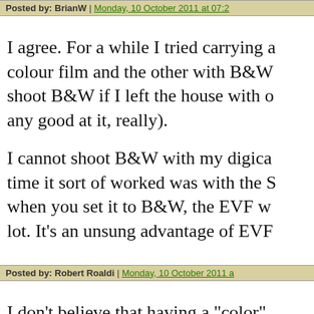Posted by: BrianW | Monday, 10 October 2011 at 07:2...
I agree. For a while I tried carrying a... colour film and the other with B&W... shoot B&W if I left the house with o... any good at it, really).
I cannot shoot B&W with my digica... time it sort of worked was with the S... when you set it to B&W, the EVF w... lot. It's an unsung advantage of EVF...
Posted by: Robert Roaldi | Monday, 10 October 2011 a...
I don't believe that having a "color" ... B/W photograph when I want to. I d... camera would help me produce bette... camera did either one -- I loaded up...
That being said, I think you also got...